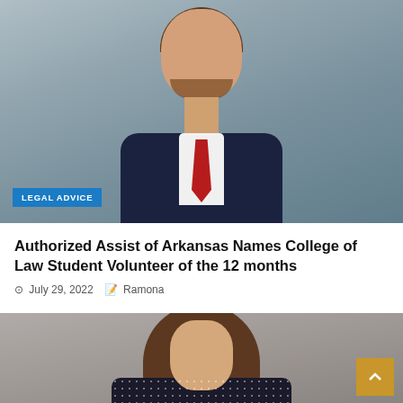[Figure (photo): Portrait photo of a young man with beard, smiling, wearing a navy suit, white shirt, and red tie, against a gray background. A blue 'LEGAL ADVICE' label badge is overlaid at the bottom left of the image.]
Authorized Assist of Arkansas Names College of Law Student Volunteer of the 12 months
July 29, 2022  Ramona
[Figure (photo): Portrait photo of a woman with long brown wavy hair, wearing a dark navy polka-dot blouse, partially visible from the mid-torso up. A gold/amber scroll-to-top button is visible in the bottom right corner.]